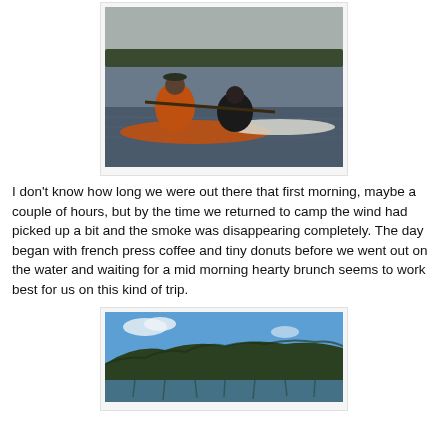[Figure (photo): Two people in kayaks on a calm lake in early morning light with forested hills in the background and a hazy atmosphere. The kayaks are orange and white.]
I don't know how long we were out there that first morning, maybe a couple of hours, but by the time we returned to camp the wind had picked up a bit and the smoke was disappearing completely.  The day began with french press coffee and tiny donuts before we went out on the water and waiting for a mid morning hearty brunch seems to work best for us on this kind of trip.
[Figure (photo): A calm lake reflecting a dense evergreen forest and hill under a bright blue sky with a few white clouds.]